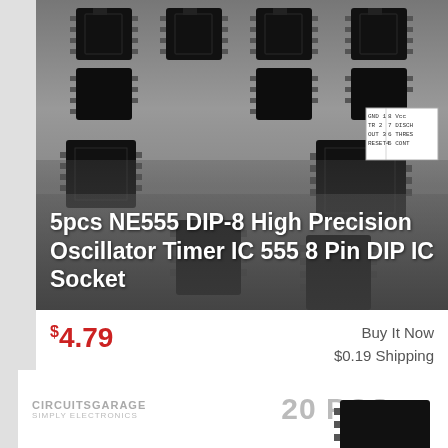[Figure (photo): Product photo of NE555 DIP-8 IC timer chips with 8-pin DIP sockets arranged in a grid against a gray background, with a pin diagram inset showing GND, VCC, DISCH, THRES, OUT, CONT, RESET pin labels]
5pcs NE555 DIP-8 High Precision Oscillator Timer IC 555 8 Pin DIP IC Socket
$4.79
Buy It Now
$0.19 Shipping
Condition: New
Location: Richmond, United States
The threshold and trigger levels normally are two-thirds and one-third, respectively, of VCC. When the trigger input falls below the trigger level, the ... more
[Figure (photo): Bottom card showing CircuitsGarage Simply Electronics brand logo on the left and '20 PCS.' text on the right, with a partial view of a black IC chip at the bottom]